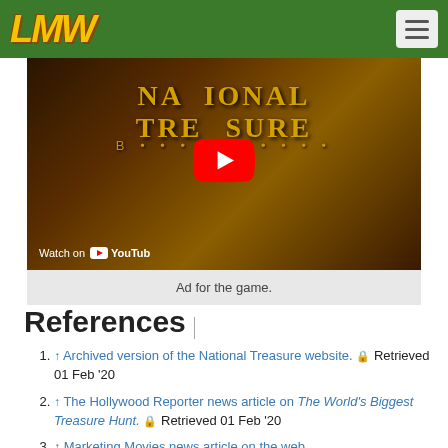LMW (logo) with hamburger menu
[Figure (screenshot): YouTube video thumbnail for National Treasure game ad with red YouTube play button overlay and 'Watch on YouTube' label at bottom left]
Ad for the game.
References
↑ Archived version of the National Treasure website. 🔒 Retrieved 01 Feb '20
↑ The Hollywood Reporter news article on The World's Biggest Treasure Hunt. 🔒 Retrieved 01 Feb '20
↑ Marketing Movies news article on the web